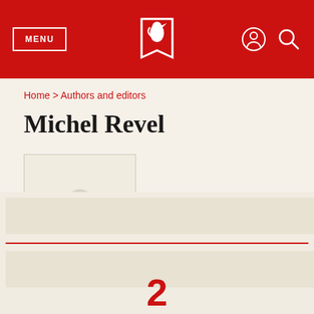MENU
Home > Authors and editors
Michel Revel
[Figure (illustration): Placeholder person silhouette icon inside a light bordered box, representing an author photo]
2